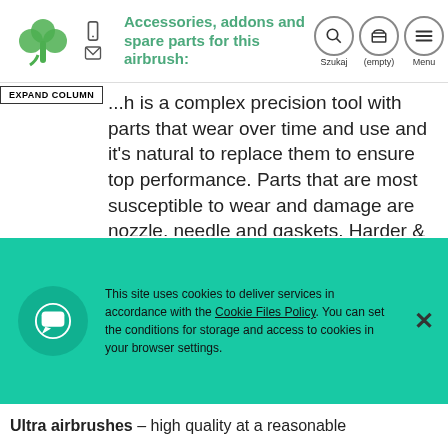Accessories, addons and spare parts for this airbrush:
...h is a complex precision tool with parts that wear over time and use and it's natural to replace them to ensure top performance. Parts that are most susceptible to wear and damage are nozzle, needle and gaskets. Harder & Steenbeck has in their catalogue every replaceable spare part for a given airbrush model and we carry them all in our shop. Click the "Related products" tab to see the most useful parts and accessories for your Evolution
This site uses cookies to deliver services in accordance with the Cookie Files Policy. You can set the conditions for storage and access to cookies in your browser settings.
Ultra airbrushes – high quality at a reasonable